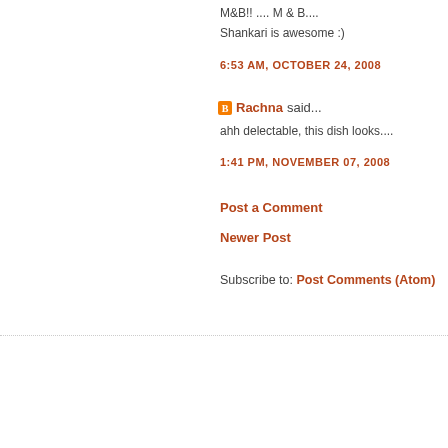M&B!! .... M & B....
Shankari is awesome :)
6:53 AM, OCTOBER 24, 2008
Rachna said...
ahh delectable, this dish looks....
1:41 PM, NOVEMBER 07, 2008
Post a Comment
Newer Post
Subscribe to: Post Comments (Atom)